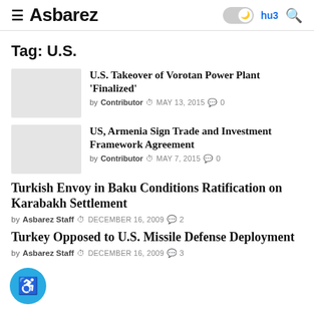≡ Asbarez | Armenian link | Search
Tag: U.S.
U.S. Takeover of Vorotan Power Plant 'Finalized' — by Contributor · MAY 13, 2015 · 0 comments
US, Armenia Sign Trade and Investment Framework Agreement — by Contributor · MAY 7, 2015 · 0 comments
Turkish Envoy in Baku Conditions Ratification on Karabakh Settlement — by Asbarez Staff · DECEMBER 16, 2009 · 2 comments
Turkey Opposed to U.S. Missile Defense Deployment — by Asbarez Staff · DECEMBER 16, 2009 · 3 comments